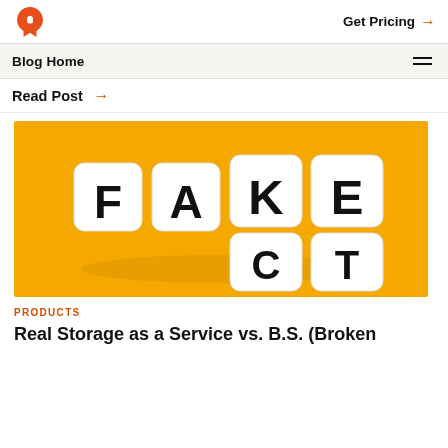Get Pricing →
Blog Home
Read Post →
[Figure (photo): White letter dice on a yellow background spelling FAKE / FACT — the letters F, A, K, E on top row and C, T on bottom row arranged to read both FAKE and FACT simultaneously]
PRODUCTS
Real Storage as a Service vs. B.S. (Broken Subscriptions)